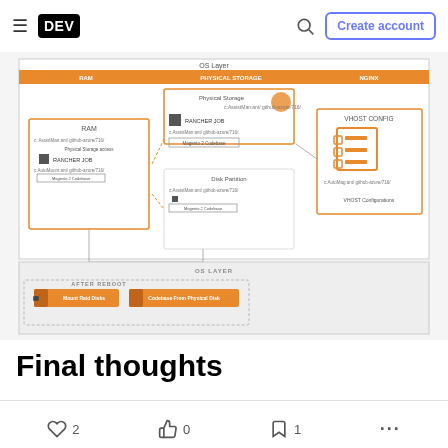DEV | Create account
[Figure (schematic): Architecture diagram showing OS Layer with RAM, Physical Storage, and NGINX sections. Includes nodes for Physical Storage, Rancher Jobs, VHOST CONFIG with VHOST Configurations, Disk Partition, and Magento 2 Codebase components with connecting arrows. Lower section shows OS LAYER with AFTER REBOOT section containing Mount Raid Disks and Codebase From Physical Disk actions.]
Final thoughts
2  0  1  ...